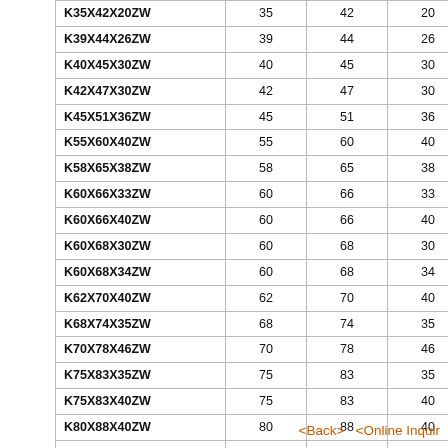|  |  |  |  |  |
| --- | --- | --- | --- | --- |
| K35X42X20ZW | 35 | 42 | 20 | 295 |
| K39X44X26ZW | 39 | 44 | 26 | 270 |
| K40X45X30ZW | 40 | 45 | 30 | 260 |
| K42X47X30ZW | 42 | 47 | 30 | 310 |
| K45X51X36ZW | 45 | 51 | 36 | 445 |
| K55X60X40ZW | 55 | 60 | 40 | 480 |
| K58X65X38ZW | 58 | 65 | 38 | 485 |
| K60X66X33ZW | 60 | 66 | 33 | 455 |
| K60X66X40ZW | 60 | 66 | 40 | 575 |
| K60X68X30ZW | 60 | 68 | 30 | 440 |
| K60X68X34ZW | 60 | 68 | 34 | 475 |
| K62X70X40ZW | 62 | 70 | 40 | 655 |
| K68X74X35ZW | 68 | 74 | 35 | 480 |
| K70X78X46ZW | 70 | 78 | 46 | 775 |
| K75X83X35ZW | 75 | 83 | 35 | 625 |
| K75X83X40ZW | 75 | 83 | 40 | 725 |
| K80X88X40ZW | 80 | 88 | 40 | 755 |
| K80X88X46ZW | 80 | 88 | 46 | 875 |
| K95X103X40ZW | 95 | 103 | 40 | 825 |
<Back>  <Online Inquiry>